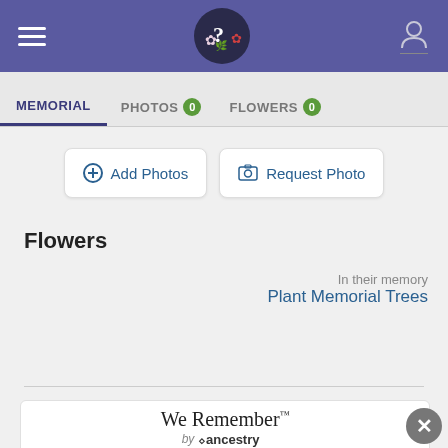[Figure (screenshot): Purple navigation header bar with hamburger menu icon on left, question mark logo in center, and user profile icon on right]
MEMORIAL   PHOTOS 0   FLOWERS 0
[Figure (screenshot): Two buttons: Add Photos and Request Photo]
Flowers
In their memory
Plant Memorial Trees
[Figure (screenshot): Leave a Flower button with flower icon]
[Figure (screenshot): We Remember by Ancestry banner with close button]